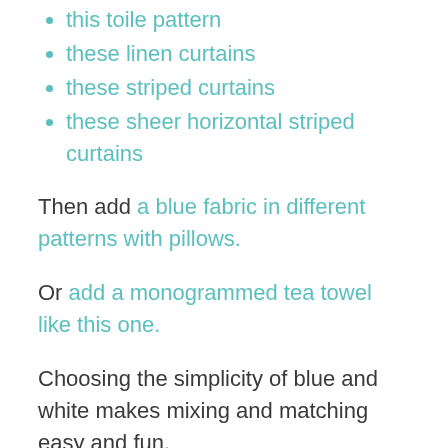this toile pattern
these linen curtains
these striped curtains
these sheer horizontal striped curtains
Then add a blue fabric in different patterns with pillows.
Or add a monogrammed tea towel like this one.
Choosing the simplicity of blue and white makes mixing and matching easy and fun.
Quick tip: your blues don’t have to match perfectly. I like blues that are friends with each other, but they don’t have to be an exact color match. It keeps the blues so much more